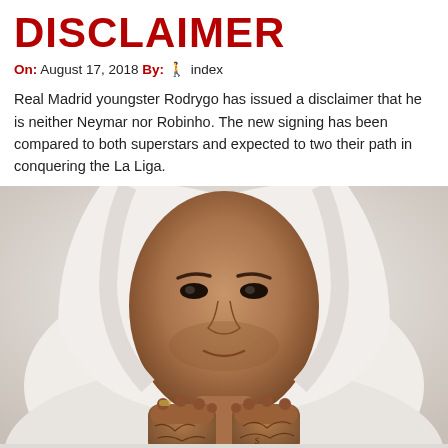DISCLAIMER
On: August 17, 2018 By: ♟ index
Real Madrid youngster Rodrygo has issued a disclaimer that he is neither Neymar nor Robinho. The new signing has been compared to both superstars and expected to two their path in conquering the La Liga.
[Figure (photo): Close-up portrait of a young man with tattoos on his hands, dressed in white hoodie, looking directly at the camera with intense expression. His tattooed fists are raised near his chin.]